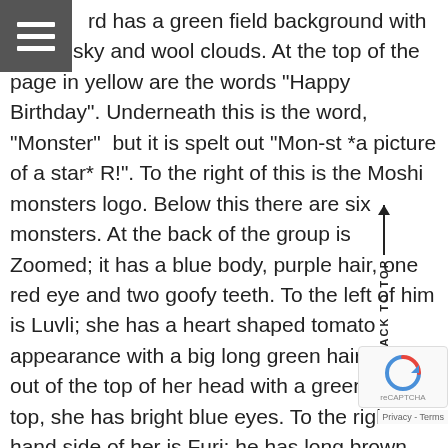rd has a green field background with a blue sky and wool clouds. At the top of the page in yellow are the words "Happy Birthday". Underneath this is the word, "Monster" but it is spelt out "Mon-st *a picture of a star* R!". To the right of this is the Moshi monsters logo. Below this there are six monsters. At the back of the group is Zoomed; it has a blue body, purple hair, one red eye and two goofy teeth. To the left of him is Luvli; she has a heart shaped tomato appearance with a big long green hair coming out of the top of her head with a green star on top, she has bright blue eyes. To the right-hand side of her is Furi; he has long brown hair, blue eyes, one tooth and he is sticking his tongue out at you. Next to him is Poppet; she has pink hair, big blue eyes and is smiling. Just below is Diavlo; he has a black body, a pair of red horns, flaming hair, black wings, a bright red face, red eyes, two fangs and a tail with a point on the end of it. Next to him on the left is Katsuma; he is yellow in colour has big floppy ears, bright blue eyes, a diamond shaped forehead a bit like a smiley face with big fangs.